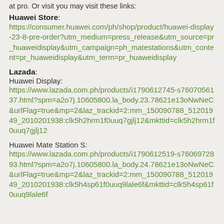at pro. Or visit you may visit these links:
Huawei Store: https://consumer.huawei.com/ph/shop/product/huawei-display-23-8-pre-order?utm_medium=press_release&utm_source=pr_huaweidisplay&utm_campaign=ph_matestations&utm_content=pr_huaweidisplay&utm_term=pr_huaweidisplay
Lazada: Huawei Display: https://www.lazada.com.ph/products/i1790612745-s7607056137.html?spm=a2o7j.10605800.la_body.23.78621e13oNwNeC&urlFlag=true&mp=2&laz_trackid=2:mm_150090788_51201949_2010201938:clk5h2hrm1f0uuq7gjlj12&mkttid=clk5h2hrm1f0uuq7gjlj12
Huawei Mate Station S: https://www.lazada.com.ph/products/i1790612519-s7606972893.html?spm=a2o7j.10605800.la_body.24.78621e13oNwNeC&urlFlag=true&mp=2&laz_trackid=2:mm_150090788_51201949_2010201938:clk5h4sp61f0uuq9lale6f&mkttid=clk5h4sp61f0uuq9lale6f